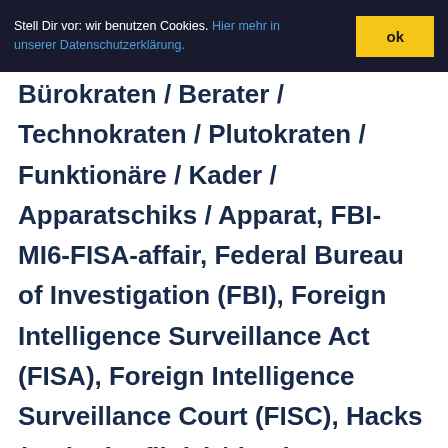Stell Dir vor: wir benutzen Cookies. Hier mehr in unserer Datenschutzerklärung. ok
Bürokraten / Berater / Technokraten / Plutokraten / Funktionäre / Kader / Apparatschiks / Apparat, FBI-MI6-FISA-affair, Federal Bureau of Investigation (FBI), Foreign Intelligence Surveillance Act (FISA), Foreign Intelligence Surveillance Court (FISC), Hacks (real oder fiktiv) / (real or fictitious), Hillary Clinton, imperialer Komplex / imperial complex, Mainstream / Zombie-Linke / Contras, Manipulationen / Fälschungen /